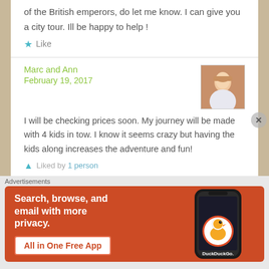of the British emperors, do let me know. I can give you a city tour. Ill be happy to help !
Like
Marc and Ann
February 19, 2017
I will be checking prices soon. My journey will be made with 4 kids in tow. I know it seems crazy but having the kids along increases the adventure and fun!
Liked by 1 person
Advertisements
[Figure (infographic): DuckDuckGo advertisement banner with orange background. Text: Search, browse, and email with more privacy. All in One Free App. Shows a phone with DuckDuckGo logo.]